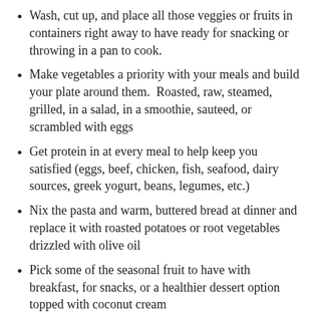Wash, cut up, and place all those veggies or fruits in containers right away to have ready for snacking or throwing in a pan to cook.
Make vegetables a priority with your meals and build your plate around them.  Roasted, raw, steamed, grilled, in a salad, in a smoothie, sauteed, or scrambled with eggs
Get protein in at every meal to help keep you satisfied (eggs, beef, chicken, fish, seafood, dairy sources, greek yogurt, beans, legumes, etc.)
Nix the pasta and warm, buttered bread at dinner and replace it with roasted potatoes or root vegetables drizzled with olive oil
Pick some of the seasonal fruit to have with breakfast, for snacks, or a healthier dessert option topped with coconut cream